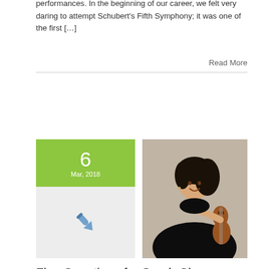performances. In the beginning of our career, we felt very daring to attempt Schubert's Fifth Symphony; it was one of the first […]
Read More
[Figure (photo): Date badge showing '6 Mar, 2018' in green box with pen icon below, beside a photo of violinist Sarah Chang smiling and holding a violin]
Five Questions for Sarah Chang
By mara.rupners | Mar 6, 2018 | 2017-2018 season | Comments Off
In advance of violinist Sarah Chang's upcoming performance, we asked her a few questions about herself and her music.   Q: You made your New York Philharmonic debut at age 8. What was that experience like? A: Life changing. I […]